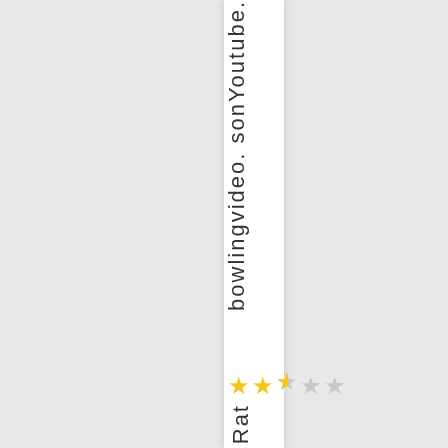bowlingvideo. sonYoutube.
[Figure (other): Star rating showing approximately 2.5 out of 5 stars (two full yellow stars, one half yellow star, two empty stars)]
Rat